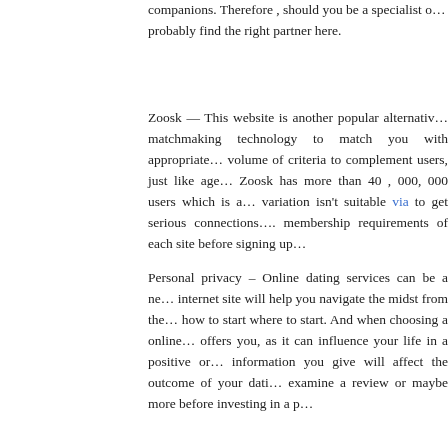companions. Therefore , should you be a specialist o... probably find the right partner here.
Zoosk — This website is another popular alternative... matchmaking technology to match you with appropriate... volume of criteria to complement users, just like age... Zoosk has more than 40 , 000, 000 users which is a... variation isn't suitable via to get serious connections.... membership requirements of each site before signing up...
Personal privacy – Online dating services can be a ne... internet site will help you navigate the midst from the... how to start where to start. And when choosing a online... offers you, as it can influence your life in a positive or... information you give will affect the outcome of your dati... examine a review or maybe more before investing in a p...
This entry was posted on Monday, August 23rd, 2021 at [Uncategorized]. You can follow any responses to this entry... Responses are currently closed, but you can trackback from...
Comments are closed.